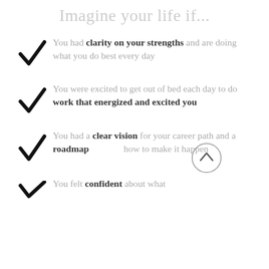Imagine your life if...
You had clarity on your strengths and are doing what you do best every day
You were excited to get out of bed each day to do work that energized and excited you
You had a clear vision for your career path and a roadmap how to make it happen
You felt confident about what